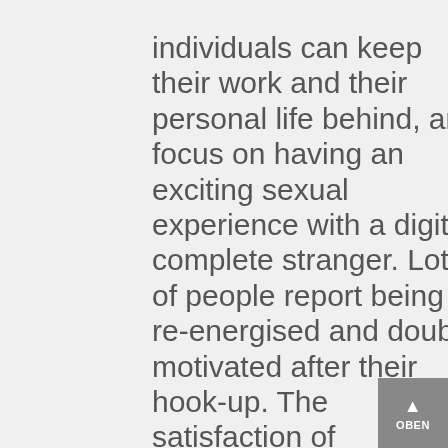individuals can keep their work and their personal life behind, and focus on having an exciting sexual experience with a digital complete stranger. Lots of people report being re-energised and doubly motivated after their hook-up. The satisfaction of experiencing great intercourse for enjoyable provides